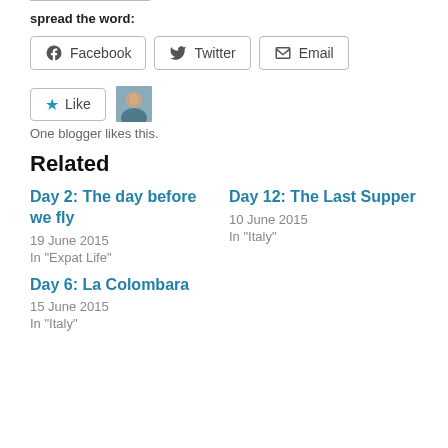spread the word:
Facebook  Twitter  Email
[Figure (infographic): Like button with star icon and a small blogger avatar photo]
One blogger likes this.
Related
Day 2: The day before we fly
19 June 2015
In "Expat Life"
Day 12: The Last Supper
10 June 2015
In "Italy"
Day 6: La Colombara
15 June 2015
In "Italy"